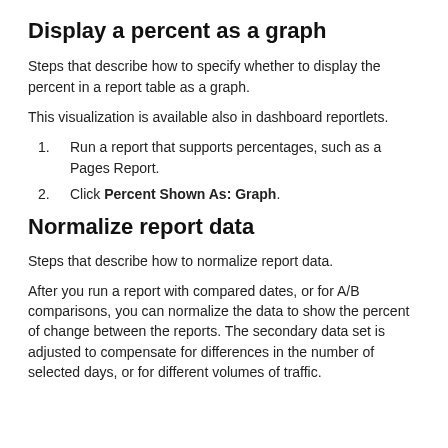Display a percent as a graph
Steps that describe how to specify whether to display the percent in a report table as a graph.
This visualization is available also in dashboard reportlets.
Run a report that supports percentages, such as a Pages Report.
Click Percent Shown As: Graph.
Normalize report data
Steps that describe how to normalize report data.
After you run a report with compared dates, or for A/B comparisons, you can normalize the data to show the percent of change between the reports. The secondary data set is adjusted to compensate for differences in the number of selected days, or for different volumes of traffic.